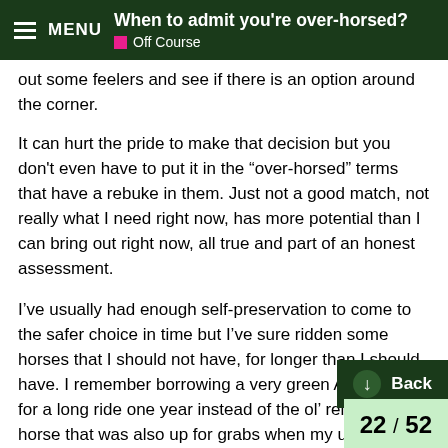When to admit you're over-horsed? | Off Course
out some feelers and see if there is an option around the corner.
It can hurt the pride to make that decision but you don't even have to put it in the “over-horsed” terms that have a rebuke in them. Just not a good match, not really what I need right now, has more potential than I can bring out right now, all true and part of an honest assessment.
I’ve usually had enough self-preservation to come to the safer choice in time but I’ve sure ridden some horses that I should not have, for longer than I should have. I remember borrowing a very green Arab gelding for a long ride one year instead of the ol’ reliable kid horse that was also up for grabs when my usual horse was hurt. I didn’t get 50 yards up the trail before I pulled a big ol’ NOPE. Back to the kid horse, thank you very much! It meant repacking a pack horse and switching all the saddles but we all got there alive and the Arab got plenty o ence packing sleeping bags instead of me. Get and in the right wrong situation it gets you